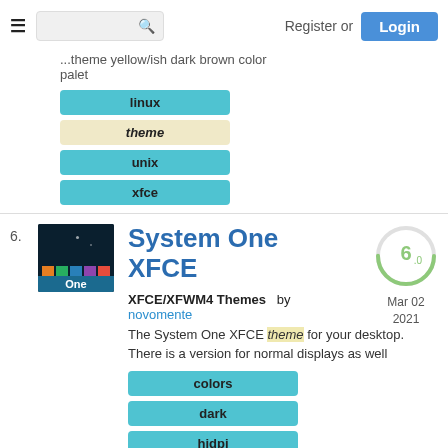Register or Login
...theme yellow/ish dark brown color palet
linux
theme
unix
xfce
6.
[Figure (screenshot): Thumbnail of System One XFCE theme showing dark desktop with colorful bars at bottom and 'One' label]
System One XFCE
6.0
Mar 02 2021
XFCE/XFWM4 Themes   by novomente
The System One XFCE theme for your desktop. There is a version for normal displays as well
colors
dark
hidpi
light
linux